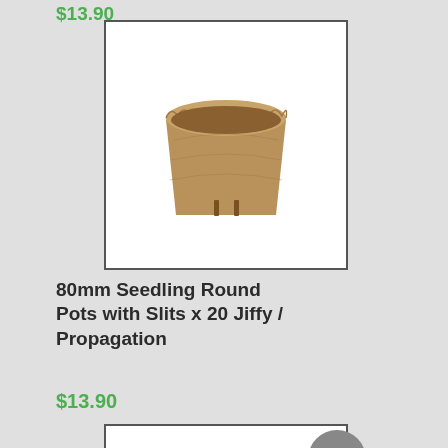$13.90 (partial price from previous product)
[Figure (photo): Peat/jiffy seedling round pot with slits, brown fiber material, photographed on white background inside a bordered box]
80mm Seedling Round Pots with Slits x 20 Jiffy / Propagation
$13.90
[Figure (photo): Product box partially visible at bottom — green packaging with a 'SOLD OUT' badge overlay in grey circle]